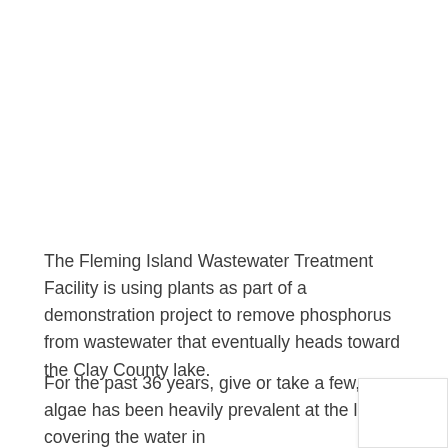The Fleming Island Wastewater Treatment Facility is using plants as part of a demonstration project to remove phosphorus from wastewater that eventually heads toward the Clay County lake.
For the past 36 years, give or take a few, algae has been heavily prevalent at the lake, covering the water in bloom, which at times can be quite unsanitary and health...